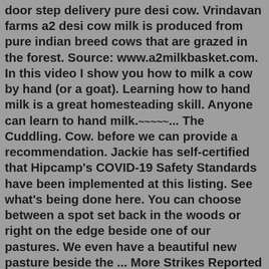door step delivery pure desi cow. Vrindavan farms a2 desi cow milk is produced from pure indian breed cows that are grazed in the forest. Source: www.a2milkbasket.com. In this video I show you how to milk a cow by hand (or a goat). Learning how to hand milk is a great homesteading skill. Anyone can learn to hand milk.~~~~~... The Cuddling. Cow. before we can provide a recommendation. Jackie has self-certified that Hipcamp's COVID-19 Safety Standards have been implemented at this listing. See what's being done here. You can choose between a spot set back in the woods or right on the edge beside one of our pastures. We even have a beautiful new pasture beside the ... More Strikes Reported Near Nuclear Plant as U.N. Experts Plan Visit. Neither Russia nor Ukraine appeared to be pausing attacks in the area, even as talks continued over allowing inspectors to visit the Zaporizhzhia plant.In general, your portable unit will include the following components: A vacuum pump on wheels. These